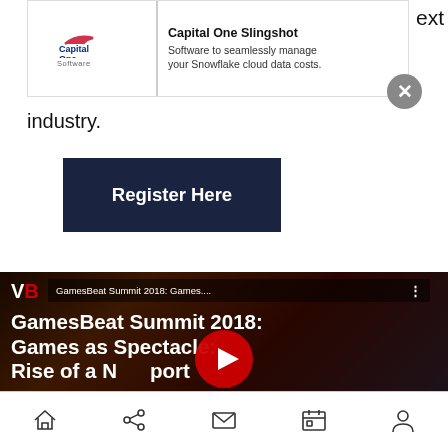[Figure (screenshot): Capital One Software advertisement banner with logo on left and 'Capital One Slingshot - Software to seamlessly manage your Snowflake cloud data costs.' text on right]
industry.
[Figure (screenshot): Dark navy blue 'Register Here' button]
[Figure (screenshot): YouTube video embed: GamesBeat Summit 2018 - Games as Spectacle: Rise of a New Sport. VB and USC Games logos visible. YouTube play button in center.]
[Figure (screenshot): Mobile browser bottom navigation bar with home, share, mail, calendar, and profile icons]